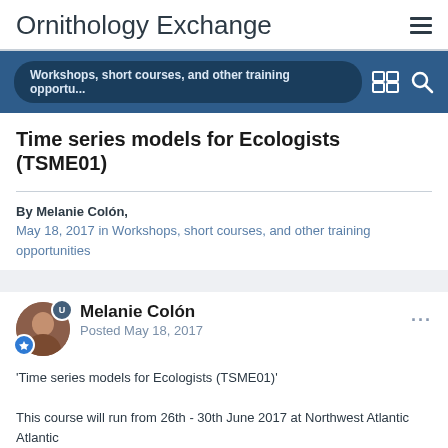Ornithology Exchange
Workshops, short courses, and other training opportu...
Time series models for Ecologists (TSME01)
By Melanie Colón,
May 18, 2017 in Workshops, short courses, and other training opportunities
Melanie Colón
Posted May 18, 2017
'Time series models for Ecologists (TSME01)'
This course will run from 26th - 30th June 2017 at Northwest Atlantic
Fisheries Centre, St. John's, Canada